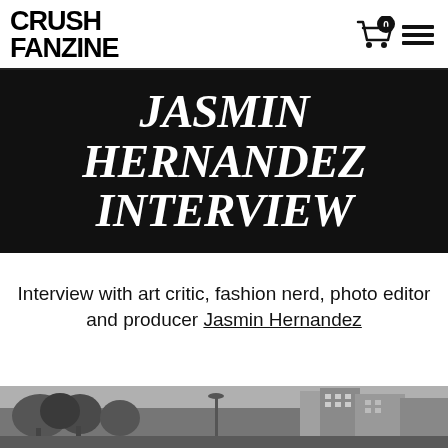CRUSH FANZINE
JASMIN HERNANDEZ INTERVIEW
Interview with art critic, fashion nerd, photo editor and producer Jasmin Hernandez
[Figure (photo): Black and white photograph of an urban street scene with trees and buildings]